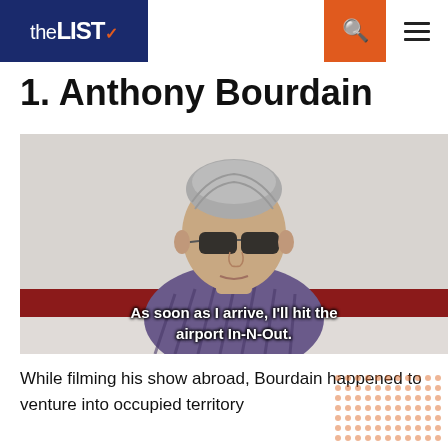theLIST
1. Anthony Bourdain
[Figure (photo): Photo of Anthony Bourdain wearing sunglasses and a plaid shirt, seated in front of a red and white background, with a subtitle overlay reading: As soon as I arrive, I'll hit the airport In-N-Out.]
As soon as I arrive, I'll hit the airport In-N-Out.
While filming his show abroad, Bourdain happened to venture into occupied territory